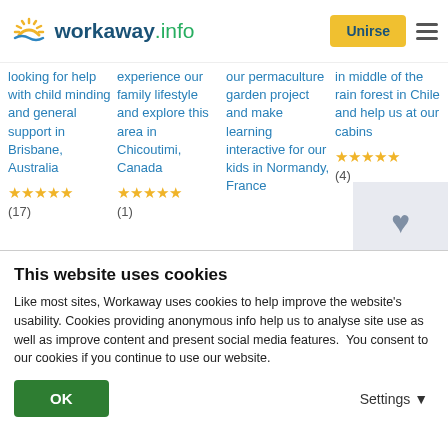workaway.info — Unirse
looking for help with child minding and general support in Brisbane, Australia ★★★★★ (17)
experience our family lifestyle and explore this area in Chicoutimi, Canada ★★★★★ (1)
our permaculture garden project and make learning interactive for our kids in Normandy, France
in middle of the rain forest in Chile and help us at our cabins ★★★★★ (4)
This website uses cookies
Like most sites, Workaway uses cookies to help improve the website's usability. Cookies providing anonymous info help us to analyse site use as well as improve content and present social media features.  You consent to our cookies if you continue to use our website.
OK   Settings ▼